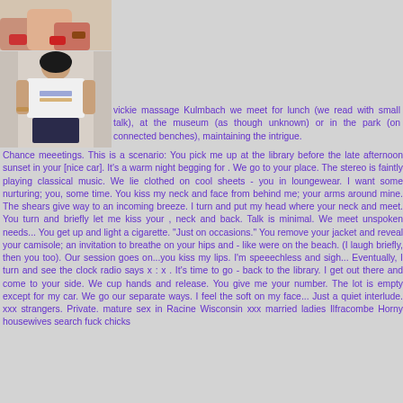[Figure (photo): Top image: close-up of legs/feet with red accessories on a light background]
[Figure (photo): Bottom image: woman in white top and dark shorts sitting]
vickie massage Kulmbach we meet for lunch (we read with small talk), at the museum (as though unknown) or in the park (on connected benches), maintaining the intrigue. Chance meeetings. This is a scenario: You pick me up at the library before the late afternoon sunset in your [nice car]. It's a warm night begging for . We go to your place. The stereo is faintly playing classical music. We lie clothed on cool sheets - you in loungewear. I want some nurturing; you, some time. You kiss my neck and face from behind me; your arms around mine. The shears give way to an incoming breeze. I turn and put my head where your neck and meet. You turn and briefly let me kiss your , neck and back. Talk is minimal. We meet unspoken needs... You get up and light a cigarette. "Just on occasions." You remove your jacket and reveal your camisole; an invitation to breathe on your hips and - like were on the beach. (I laugh briefly, then you too). Our session goes on...you kiss my lips. I'm speeechless and sigh... Eventually, I turn and see the clock radio says x : x . It's time to go - back to the library. I get out there and come to your side. We cup hands and release. You give me your number. The lot is empty except for my car. We go our separate ways. I feel the soft on my face... Just a quiet interlude. xxx strangers. Private. mature sex in Racine Wisconsin xxx married ladies Ilfracombe Horny housewives search fuck chicks